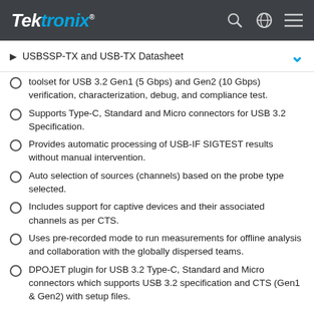Tektronix
USBSSP-TX and USB-TX Datasheet
toolset for USB 3.2 Gen1 (5 Gbps) and Gen2 (10 Gbps) verification, characterization, debug, and compliance test.
Supports Type-C, Standard and Micro connectors for USB 3.2 Specification.
Provides automatic processing of USB-IF SIGTEST results without manual intervention.
Auto selection of sources (channels) based on the probe type selected.
Includes support for captive devices and their associated channels as per CTS.
Uses pre-recorded mode to run measurements for offline analysis and collaboration with the globally dispersed teams.
DPOJET plugin for USB 3.2 Type-C, Standard and Micro connectors which supports USB 3.2 specification and CTS (Gen1 & Gen2) with setup files.